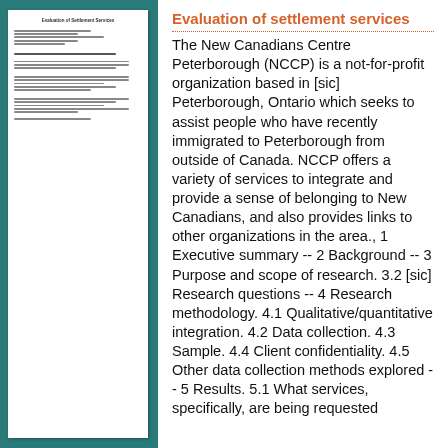[Figure (other): Thumbnail/miniature view of a document cover page for 'Evaluation of Settlement Services' showing small text lines representing the document content]
Evaluation of settlement services
The New Canadians Centre Peterborough (NCCP) is a not-for-profit organization based in [sic] Peterborough, Ontario which seeks to assist people who have recently immigrated to Peterborough from outside of Canada. NCCP offers a variety of services to integrate and provide a sense of belonging to New Canadians, and also provides links to other organizations in the area., 1 Executive summary -- 2 Background -- 3 Purpose and scope of research. 3.2 [sic] Research questions -- 4 Research methodology. 4.1 Qualitative/quantitative integration. 4.2 Data collection. 4.3 Sample. 4.4 Client confidentiality. 4.5 Other data collection methods explored -- 5 Results. 5.1 What services, specifically, are being requested